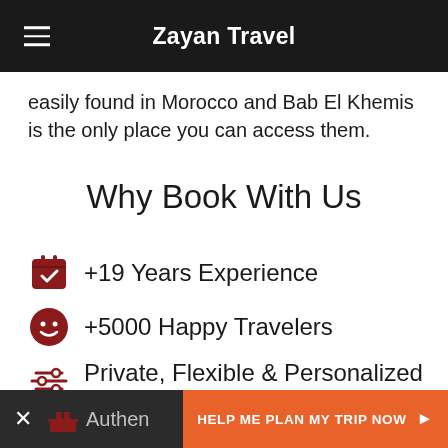Zayan Travel
easily found in Morocco and Bab El Khemis is the only place you can access them.
Why Book With Us
+19 Years Experience
+5000 Happy Travelers
Private, Flexible & Personalized Trips
Authent  HELP ME PLAN MY TRIP NOW ➤